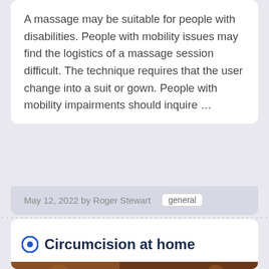A massage may be suitable for people with disabilities. People with mobility issues may find the logistics of a massage session difficult. The technique requires that the user change into a suit or gown. People with mobility impairments should inquire …
May 12, 2022 by Roger Stewart   general
Circumcision at home
[Figure (photo): A laughing woman and a smiling man in warm indoor lighting, both looking at each other]